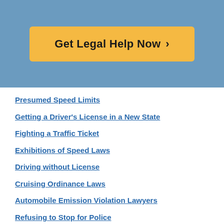[Figure (other): Call-to-action button with orange/yellow background reading 'Get Legal Help Now >']
Presumed Speed Limits
Getting a Driver's License in a New State
Fighting a Traffic Ticket
Exhibitions of Speed Laws
Driving without License
Cruising Ordinance Laws
Automobile Emission Violation Lawyers
Refusing to Stop for Police
Hit and Run Lawyer Near You
How to Prepare for a Consultation About Your Speeding and Moving Violation
Illegal Sideshow Charges